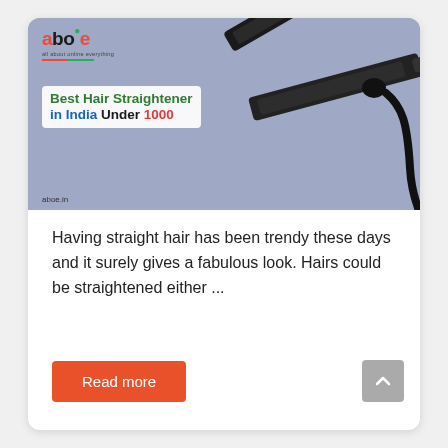[Figure (photo): Header image with blue-grey background showing a black hair straightener and the aboe.in logo with text overlay 'Best Hair Straightener in India Under 1000']
Having straight hair has been trendy these days and it surely gives a fabulous look. Hairs could be straightened either ...
Read more
[Figure (other): Scroll-to-top arrow button]